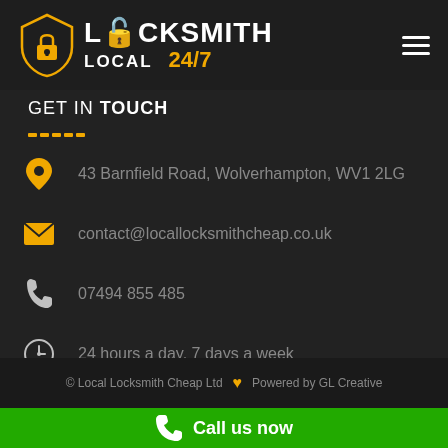[Figure (logo): Locksmith Local 24/7 logo with shield icon and padlock, white and yellow text on dark background]
GET IN TOUCH
43 Barnfield Road, Wolverhampton, WV1 2LG
contact@locallocksmithcheap.co.uk
07494 855 485
24 hours a day, 7 days a week
© Local Locksmith Cheap Ltd ♥ Powered by GL Creative
Call us now